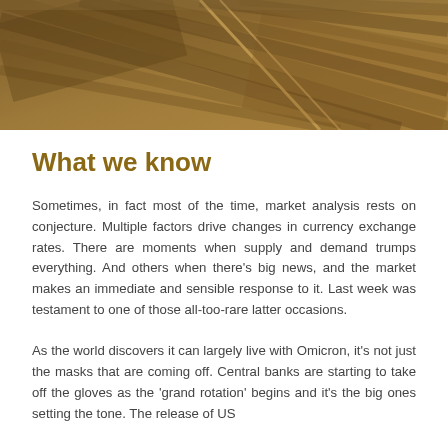[Figure (photo): Aerial photograph of brown agricultural fields with diagonal lines and geometric patterns, warm earthy tones]
What we know
Sometimes, in fact most of the time, market analysis rests on conjecture. Multiple factors drive changes in currency exchange rates. There are moments when supply and demand trumps everything. And others when there's big news, and the market makes an immediate and sensible response to it. Last week was testament to one of those all-too-rare latter occasions.
As the world discovers it can largely live with Omicron, it's not just the masks that are coming off. Central banks are starting to take off the gloves as the 'grand rotation' begins and it's the big ones setting the tone. The release of US